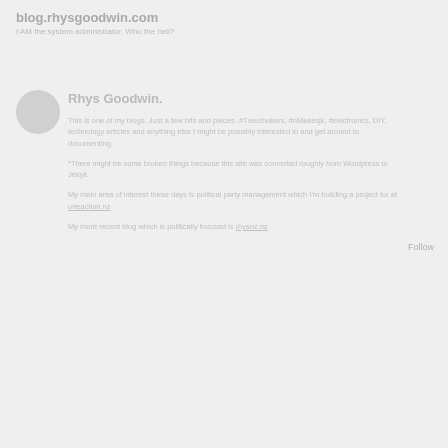blog.rhysgoodwin.com
I AM the system administrator. Who the hell?
Rhys Goodwin.
This is one of my blogs. Just a few bits and pieces. #Treechokers, #nMakesjk, #electronics, DIY, technology articles and anything else I might be possibly interested in and get around to documenting.
*There might be some broken things because this site was converted roughly from Wordpress to Jekyll.
My main area of interest these days is political party management which I'm building a project for at oneaction.nz
My more recent blog which is politically focused is rhysnz.nz
Follow